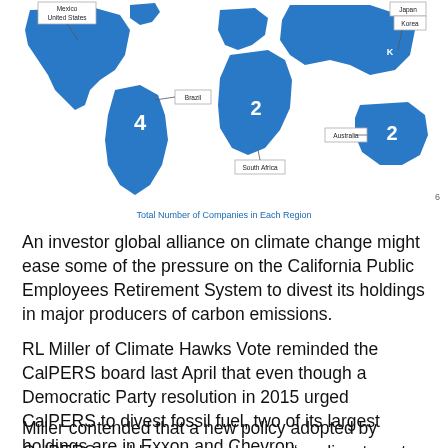[Figure (map): World map showing total number of companies in each region. South America labeled 4, Africa labeled 2, Australia labeled 2, K (Korea region) labeled. Countries labeled include Mexico, United States, Brazil, South Africa, Australia, Japan, Korea.]
Total Number of Companies in Each Region
An investor global alliance on climate change might ease some of the pressure on the California Public Employees Retirement System to divest its holdings in major producers of carbon emissions.
RL Miller of Climate Hawks Vote reminded the CalPERS board last April that even though a Democratic Party resolution in 2015 urged CalPERS to divest fossil fuel, two of its largest holdings are in Exxon and Chevron.
Miller contended that a new policy adopted by CalPERS could be summed up as “no divestment ever.” State